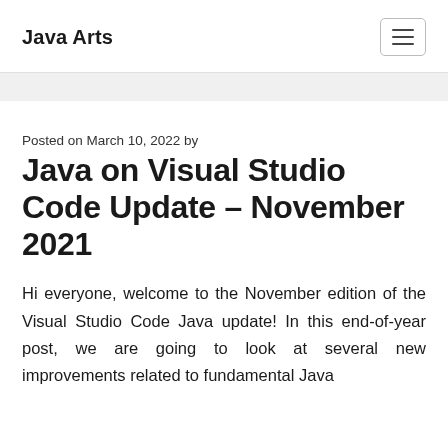Java Arts
Posted on March 10, 2022 by
Java on Visual Studio Code Update – November 2021
Hi everyone, welcome to the November edition of the Visual Studio Code Java update! In this end-of-year post, we are going to look at several new improvements related to fundamental Java